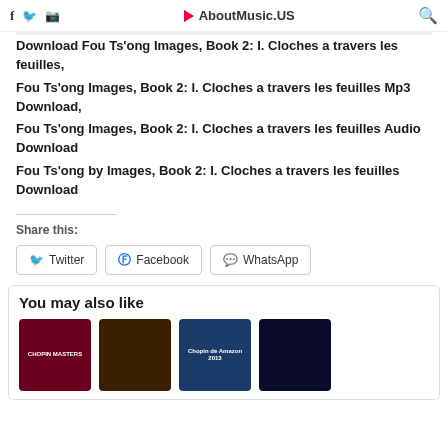f  Twitter  Instagram  ▶ AboutMusic.US  🔍
Download Fou Ts'ong Images, Book 2: I. Cloches a travers les feuilles,
Fou Ts'ong Images, Book 2: I. Cloches a travers les feuilles Mp3 Download,
Fou Ts'ong Images, Book 2: I. Cloches a travers les feuilles Audio Download
Fou Ts'ong by Images, Book 2: I. Cloches a travers les feuilles Download
Share this:
You may also like